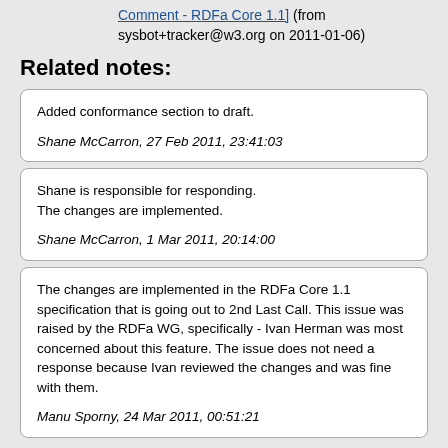Comment - RDFa Core 1.1] (from sysbot+tracker@w3.org on 2011-01-06)
Related notes:
Added conformance section to draft.

Shane McCarron, 27 Feb 2011, 23:41:03
Shane is responsible for responding.
The changes are implemented.

Shane McCarron, 1 Mar 2011, 20:14:00
The changes are implemented in the RDFa Core 1.1 specification that is going out to 2nd Last Call. This issue was raised by the RDFa WG, specifically - Ivan Herman was most concerned about this feature. The issue does not need a response because Ivan reviewed the changes and was fine with them.

Manu Sporny, 24 Mar 2011, 00:51:21